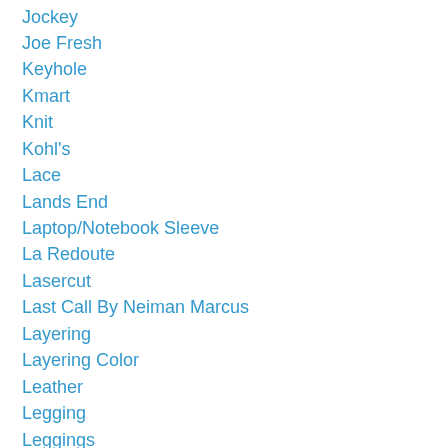Jockey
Joe Fresh
Keyhole
Kmart
Knit
Kohl's
Lace
Lands End
Laptop/Notebook Sleeve
La Redoute
Lasercut
Last Call By Neiman Marcus
Layering
Layering Color
Leather
Legging
Leggings
Leopard
Linen
Lingerie
L.L.Bean Signature